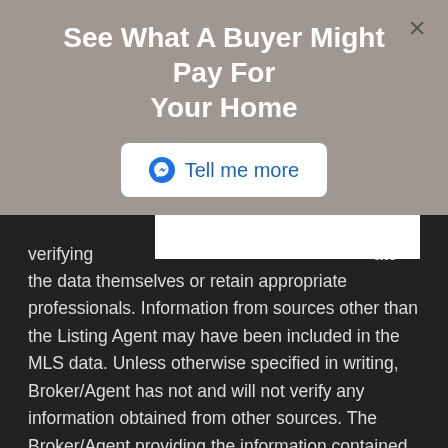See What A Buyer Might Pay For Your Home
Tell me more
verifying ate the data themselves or retain appropriate professionals. Information from sources other than the Listing Agent may have been included in the MLS data. Unless otherwise specified in writing, Broker/Agent has not and will not verify any information obtained from other sources. The Broker/Agent providing the information contained herein may or may not have been the Listing and/or Selling Agent.
Based on information from August 28, 2022 5:35 AM UTC The information being provided by CRMLS is for the visitor's personal, noncommercial use and may not be used for any purpose other